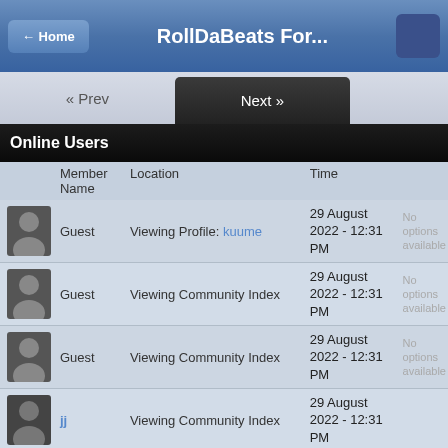← Home   RollDaBeats For...
« Prev   Next »
Online Users
|  | Member Name | Location | Time |  |
| --- | --- | --- | --- | --- |
| [avatar] | Guest | Viewing Profile: kuume | 29 August 2022 - 12:31 PM | No options available |
| [avatar] | Guest | Viewing Community Index | 29 August 2022 - 12:31 PM | No options available |
| [avatar] | Guest | Viewing Community Index | 29 August 2022 - 12:31 PM | No options available |
| [avatar] | jj | Viewing Community Index | 29 August 2022 - 12:31 PM |  |
| [avatar] | Guest | Viewing Community Index | 29 August 2022 - 12:31 PM | No options available |